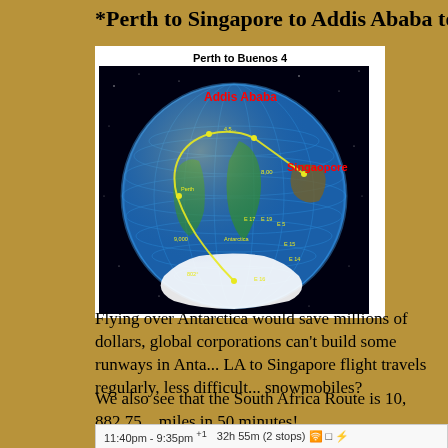*Perth to Singapore to Addis Ababa to Sao Poalo to B...
[Figure (photo): Globe map showing a flight route from Perth to Buenos Aires (labeled 'Perth to Buenos 4'), with labels for Addis Ababa in red at top, Singapore in red on the right, and various yellow route markers and text across the globe showing flight path arcing over Antarctica.]
Flying over Antarctica would save millions of dollars, global corporations can't build some runways in Anta... LA to Singapore flight travels regularly, less difficult... snowmobiles?
We also see that the South Africa Route is 10, 882.75... miles in 50 minutes!
11:40pm - 9:35pm +1   32h 55m (2 stops)